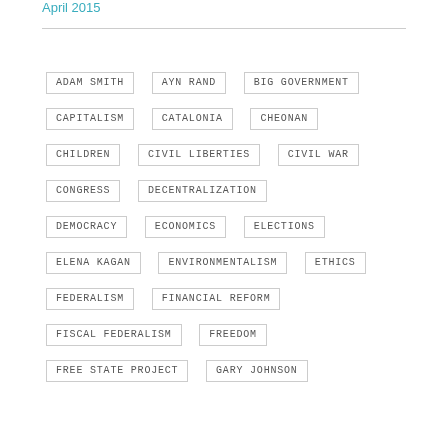April 2015
ADAM SMITH
AYN RAND
BIG GOVERNMENT
CAPITALISM
CATALONIA
CHEONAN
CHILDREN
CIVIL LIBERTIES
CIVIL WAR
CONGRESS
DECENTRALIZATION
DEMOCRACY
ECONOMICS
ELECTIONS
ELENA KAGAN
ENVIRONMENTALISM
ETHICS
FEDERALISM
FINANCIAL REFORM
FISCAL FEDERALISM
FREEDOM
FREE STATE PROJECT
GARY JOHNSON